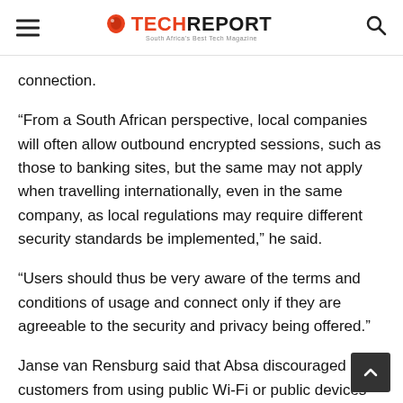TechReport — South Africa's Best Tech Magazine
connection.
“From a South African perspective, local companies will often allow outbound encrypted sessions, such as those to banking sites, but the same may not apply when travelling internationally, even in the same company, as local regulations may require different security standards be implemented,” he said.
“Users should thus be very aware of the terms and conditions of usage and connect only if they are agreeable to the security and privacy being offered.”
Janse van Rensburg said that Absa discouraged customers from using public Wi-Fi or public devices for the purposes of online banking, and added that some companies may act decrypt sessions and log employee activity.